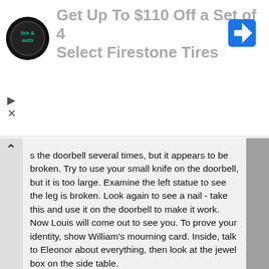[Figure (screenshot): Advertisement banner for Firestone Tires showing logo, text 'Get Up To $110 Off a Set of 4 Select Firestone Tires', navigation icon, and close/mute controls]
s the doorbell several times, but it appears to be broken. Try to use your small knife on the doorbell, but it is too large. Examine the left statue to see the leg is broken. Look again to see a nail - take this and use it on the doorbell to make it work. Now Louis will come out to see you. To prove your identity, show William's mourning card. Inside, talk to Eleonor about everything, then look at the jewel box on the side table.
Head outside, then proceed to the path fork. Talk to Louis, then continue on to the old garden. Look at the faucet with the hose attached, and you will automatically take a piece of firm wire. Approach the abandoned house, and try the door - it is locked. Right click the door to notice the key is on the other side. Slide William's mourning card beneath the door, then use the firm wire to push the key through, and you will get the key and the card. Use the key on the door to get inside.
Open the drawer of the small table on the right and you will